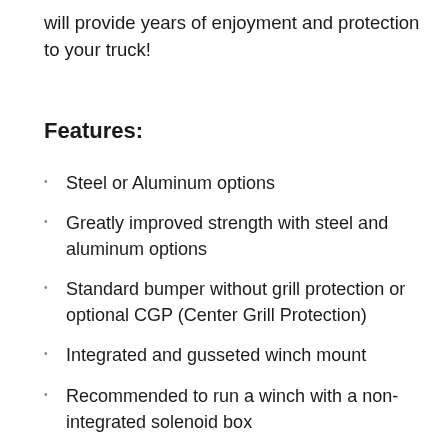will provide years of enjoyment and protection to your truck!
Features:
Steel or Aluminum options
Greatly improved strength with steel and aluminum options
Standard bumper without grill protection or optional CGP (Center Grill Protection)
Integrated and gusseted winch mount
Recommended to run a winch with a non-integrated solenoid box
Winch mounting compatible with 8,000 to 12,000